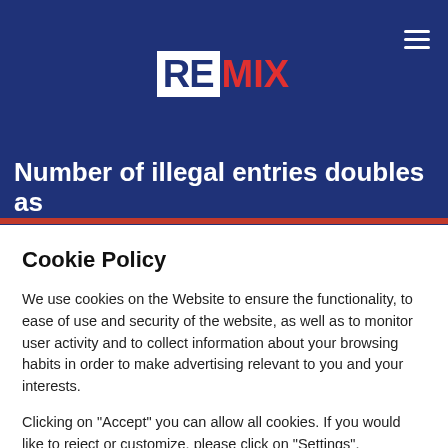REMIX
Number of illegal entries doubles as
Cookie Policy
We use cookies on the Website to ensure the functionality, to ease of use and security of the website, as well as to monitor user activity and to collect information about your browsing habits in order to make advertising relevant to you and your interests.
Clicking on "Accept" you can allow all cookies. If you would like to reject or customize, please click on "Settings".
Read more: Cookie Policy
SETTINGS
ACCEPT